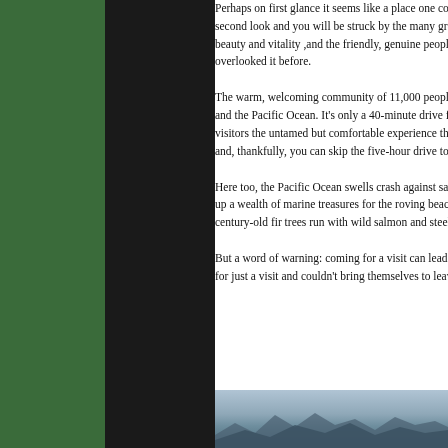Perhaps on first glance it seems like a place one could ignore. But take time for that all-important second look and you will be struck by the many great opportunities for work and recreation, its beauty and vitality ,and the friendly, genuine people who live here. And you will wonder why you overlooked it before.
The warm, welcoming community of 11,000 people is situated between a wild, towering rainforest and the Pacific Ocean. It's only a 40-minute drive from downtown Victoria, but Sooke offers visitors the untamed but comfortable experience that Vancouver Island's far west is famous for - and, thankfully, you can skip the five-hour drive to Tofino.
Here too, the Pacific Ocean swells crash against sandy beaches and storm-blasted caves, offering up a wealth of marine treasures for the roving beachcomber. Clear mountain rivers lined with century-old fir trees run with wild salmon and steelhead. This is beautiful B.C. in top form.
But a word of warning: coming for a visit can lead to life changes. Many of Sooke's residents came for just a visit and couldn't bring themselves to leave.
[Figure (photo): Landscape photo showing mountain silhouettes and water/coastline scene in muted blue-grey tones]